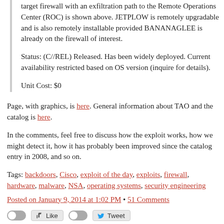target firewall with an exfiltration path to the Remote Operations Center (ROC) is shown above. JETPLOW is remotely upgradable and is also remotely installable provided BANANAGLEE is already on the firewall of interest.
Status: (C//REL) Released. Has been widely deployed. Current availability restricted based on OS version (inquire for details).
Unit Cost: $0
Page, with graphics, is here. General information about TAO and the catalog is here.
In the comments, feel free to discuss how the exploit works, how we might detect it, how it has probably been improved since the catalog entry in 2008, and so on.
Tags: backdoors, Cisco, exploit of the day, exploits, firewall, hardware, malware, NSA, operating systems, security engineering
Posted on January 9, 2014 at 1:02 PM • 51 Comments